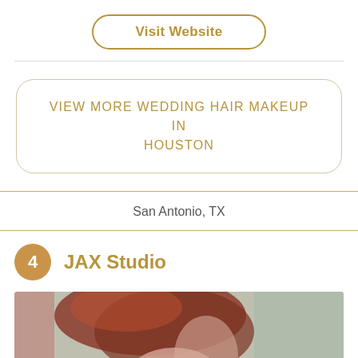Visit Website
VIEW MORE WEDDING HAIR MAKEUP IN HOUSTON
San Antonio, TX
4 JAX Studio
[Figure (photo): Partial photo of a person with reddish-brown hair styled up, visible from the back/side, with a blurred background]